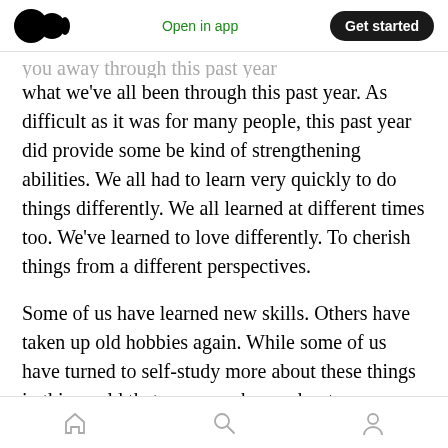Open in app | Get started
what we've all been through this past year. As difficult as it was for many people, this past year did provide some be kind of strengthening abilities. We all had to learn very quickly to do things differently. We all learned at different times too. We've learned to love differently. To cherish things from a different perspectives.
Some of us have learned new skills. Others have taken up old hobbies again. While some of us have turned to self-study more about these things in this world that we never knew about.
Home | Search | Profile